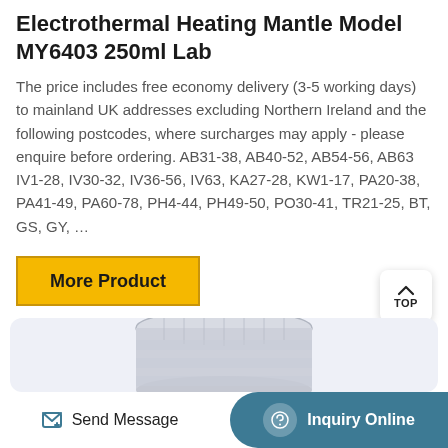Electrothermal Heating Mantle Model MY6403 250ml Lab
The price includes free economy delivery (3-5 working days) to mainland UK addresses excluding Northern Ireland and the following postcodes, where surcharges may apply - please enquire before ordering. AB31-38, AB40-52, AB54-56, AB63 IV1-28, IV30-32, IV36-56, IV63, KA27-28, KW1-17, PA20-38, PA41-49, PA60-78, PH4-44, PH49-50, PO30-41, TR21-25, BT, GS, GY, …
[Figure (other): Yellow 'More Product' button with dark border]
[Figure (photo): Photo of Electrothermal Heating Mantle lab equipment, cylindrical device in light blue/grey background area]
Send Message   Inquiry Online